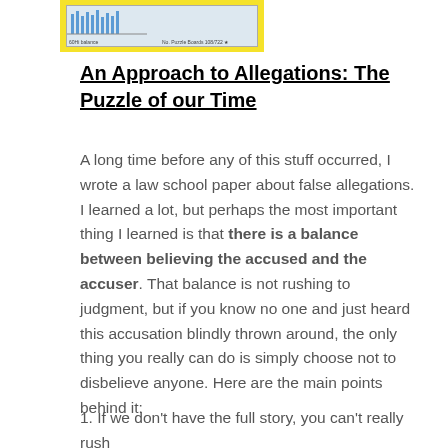[Figure (photo): Cropped image of a yellow puzzle box top showing a partial puzzle graphic with blue elements and label text reading something like 'No. Puzzle Boards 108/722']
An Approach to Allegations: The Puzzle of our Time
A long time before any of this stuff occurred, I wrote a law school paper about false allegations. I learned a lot, but perhaps the most important thing I learned is that there is a balance between believing the accused and the accuser. That balance is not rushing to judgment, but if you know no one and just heard this accusation blindly thrown around, the only thing you really can do is simply choose not to disbelieve anyone. Here are the main points behind it:
1. If we don't have the full story, you can't really rush